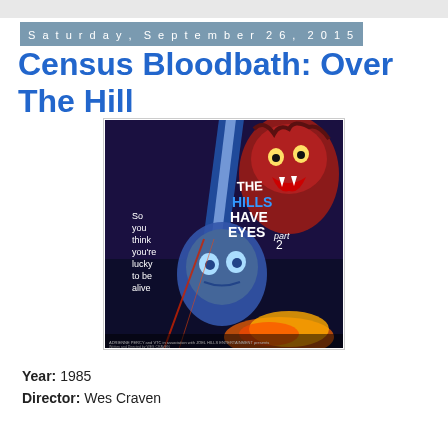Saturday, September 26, 2015
Census Bloodbath: Over The Hill
[Figure (photo): Movie poster for 'The Hills Have Eyes Part 2' (1985). Dark horror poster featuring a menacing red-colored monster/creature at top right, a blue-tinted ghoulish face in the center, text reading 'THE HILLS HAVE EYES part 2' in large letters, and tagline 'So you think you're lucky to be alive' on the left side.]
Year: 1985
Director: Wes Craven